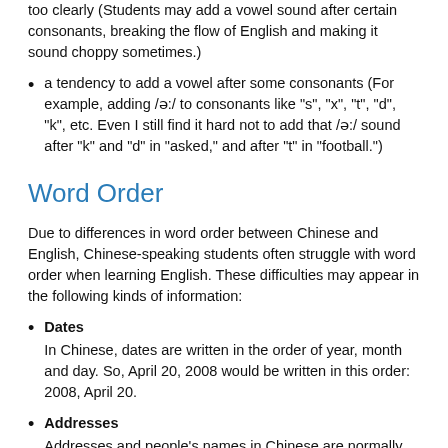too clearly (Students may add a vowel sound after certain consonants, breaking the flow of English and making it sound choppy sometimes.)
a tendency to add a vowel after some consonants (For example, adding /ə:/ to consonants like "s", "x", "t", "d", "k", etc. Even I still find it hard not to add that /ə:/ sound after "k" and "d" in "asked," and after "t" in "football.")
Word Order
Due to differences in word order between Chinese and English, Chinese-speaking students often struggle with word order when learning English. These difficulties may appear in the following kinds of information:
Dates
In Chinese, dates are written in the order of year, month and day. So, April 20, 2008 would be written in this order: 2008, April 20.
Addresses
Addresses and people's names in Chinese are normally